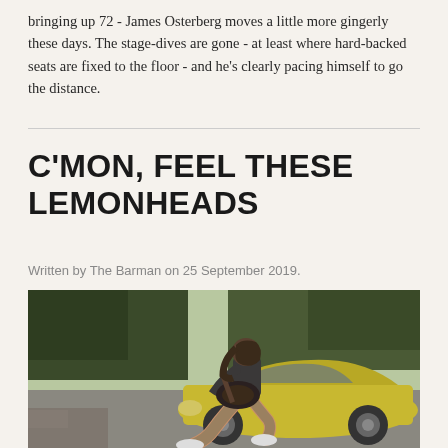bringing up 72 - James Osterberg moves a little more gingerly these days. The stage-dives are gone - at least where hard-backed seats are fixed to the floor - and he's clearly pacing himself to go the distance.
C'MON, FEEL THESE LEMONHEADS
Written by The Barman on 25 September 2019.
[Figure (photo): A person sitting on the hood of a yellow vintage car, playing guitar. Background shows trees. The person wears a dark t-shirt and brown pants with white sneakers.]